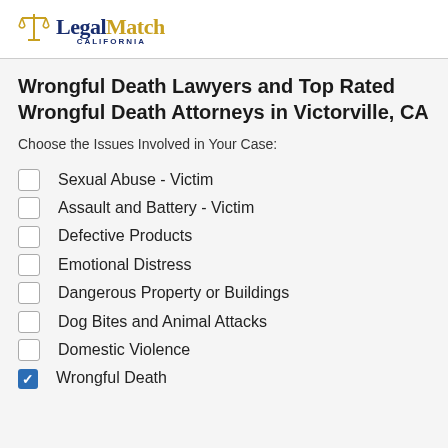[Figure (logo): LegalMatch California logo with scales of justice icon and two-tone text]
Wrongful Death Lawyers and Top Rated Wrongful Death Attorneys in Victorville, CA
Choose the Issues Involved in Your Case:
Sexual Abuse - Victim
Assault and Battery - Victim
Defective Products
Emotional Distress
Dangerous Property or Buildings
Dog Bites and Animal Attacks
Domestic Violence
Wrongful Death (checked)